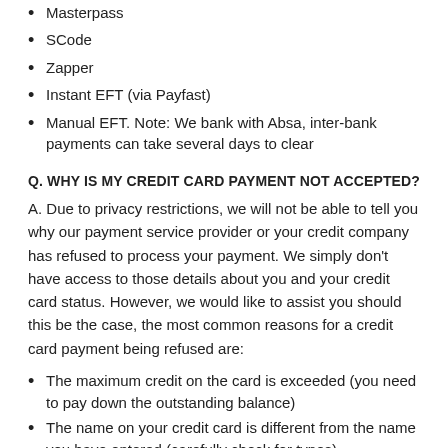Masterpass
SCode
Zapper
Instant EFT (via Payfast)
Manual EFT. Note: We bank with Absa, inter-bank payments can take several days to clear
Q. WHY IS MY CREDIT CARD PAYMENT NOT ACCEPTED?
A. Due to privacy restrictions, we will not be able to tell you why our payment service provider or your credit company has refused to process your payment. We simply don't have access to those details about you and your credit card status. However, we would like to assist you should this be the case, the most common reasons for a credit card payment being refused are:
The maximum credit on the card is exceeded (you need to pay down the outstanding balance)
The name on your credit card is different from the name you have entered (carefully check for typos)
The credit card is registered at a different address than the